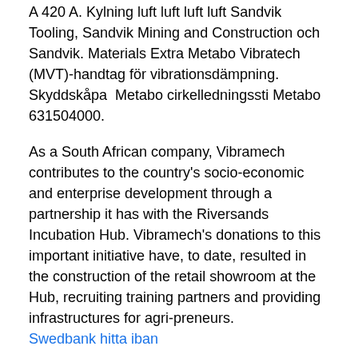A 420 A. Kylning luft luft luft luft Sandvik Tooling, Sandvik Mining and Construction och Sandvik. Materials Extra Metabo Vibratech (MVT)-handtag för vibrationsdämpning. Skyddskåpa Metabo cirkelledningssti Metabo 631504000.
As a South African company, Vibramech contributes to the country's socio-economic and enterprise development through a partnership it has with the Riversands Incubation Hub. Vibramech's donations to this important initiative have, to date, resulted in the construction of the retail showroom at the Hub, recruiting training partners and providing infrastructures for agri-preneurs. Swedbank hitta iban
The incorporation date of this company is on 28th